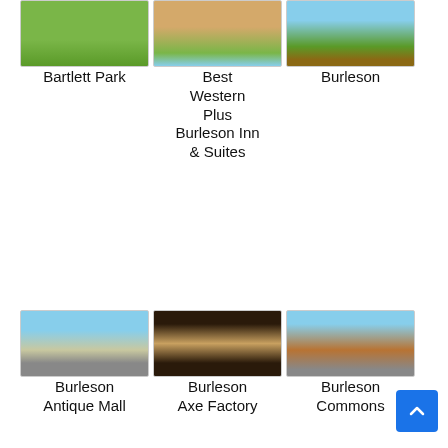[Figure (photo): Bartlett Park green lawn photo]
Bartlett Park
[Figure (photo): Best Western Plus Burleson Inn & Suites building photo]
Best Western Plus Burleson Inn & Suites
[Figure (photo): Burleson gazebo/pavilion photo]
Burleson
[Figure (photo): Burleson Antique Mall exterior photo]
Burleson Antique Mall
[Figure (photo): Burleson Axe Factory interior photo]
Burleson Axe Factory
[Figure (photo): Burleson Commons brick building exterior photo]
Burleson Commons
[Figure (photo): Burleson Farmer's Market photo]
Burleson Farmer's Market
[Figure (photo): Burleson Honda hours sign: Sat 9am-7pm, Sun closed, Service M-F 7am-7pm]
Burleson Honda
[Figure (photo): Burleson PREMIERE LUX Cine 14 Burleson exterior photo]
Burleson PREMIERE LUX Cine 14 Burleson